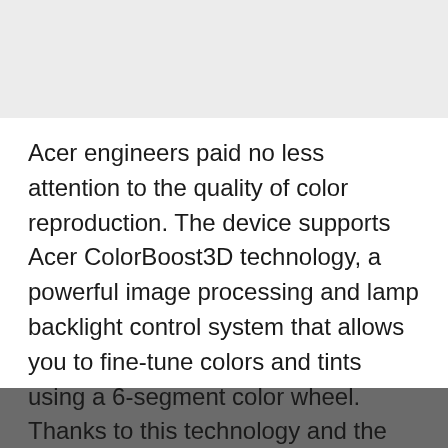Acer engineers paid no less attention to the quality of color reproduction. The device supports Acer ColorBoost3D technology, a powerful image processing and lamp backlight control system that allows you to fine-tune colors and tints using a 6-segment color wheel. Thanks to this technology and the use of a modern processor from Texas Instruments, the projection color quality remains at its best in any conditions. Also ColorBoost3D and Acer ColorSafe II technology help keep the colors saturated and natural even after long periods of using the projector.